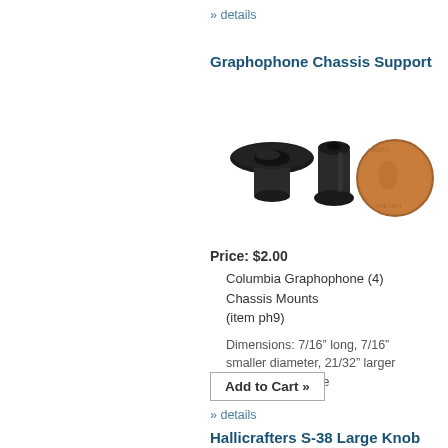» details
Graphophone Chassis Support
[Figure (photo): Two black rubber chassis mounts/grommets shown next to a penny for scale]
Price: $2.00
Columbia Graphophone (4) Chassis Mounts
(item ph9)
Dimensions: 7/16” long, 7/16” smaller diameter, 21/32” larger diameter, 1/4” hole
Add to Cart »
» details
Hallicrafters S-38 Large Knob